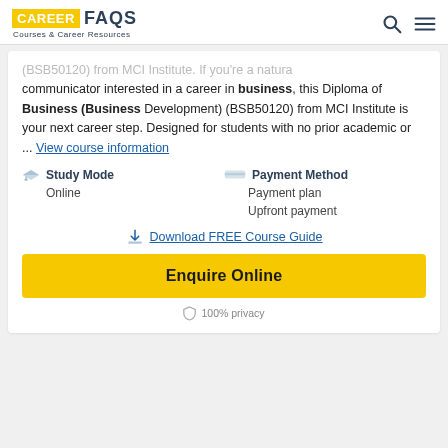CAREER FAQS — Courses & Career Resources
(BSB50120) from MCI Institute. If you're a natural communicator interested in a career in business, this Diploma of Business (Business Development) (BSB50120) from MCI Institute is your next career step. Designed for students with no prior academic or ... View course information
Study Mode: Online
Payment Method: Payment plan, Upfront payment
Download FREE Course Guide
Enquire Online
100% privacy